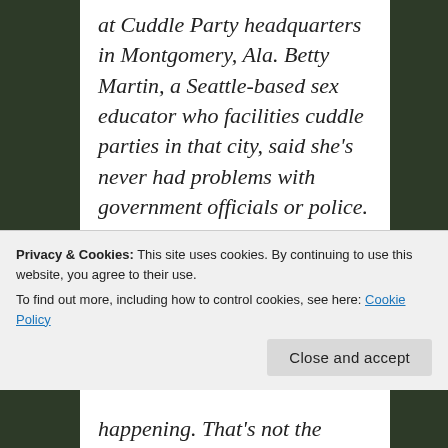at Cuddle Party headquarters in Montgomery, Ala. Betty Martin, a Seattle-based sex educator who facilities cuddle parties in that city, said she's never had problems with government officials or police. Cuddle Party participants must keep their clothes on and go
Privacy & Cookies: This site uses cookies. By continuing to use this website, you agree to their use. To find out more, including how to control cookies, see here: Cookie Policy
happening. That's not the